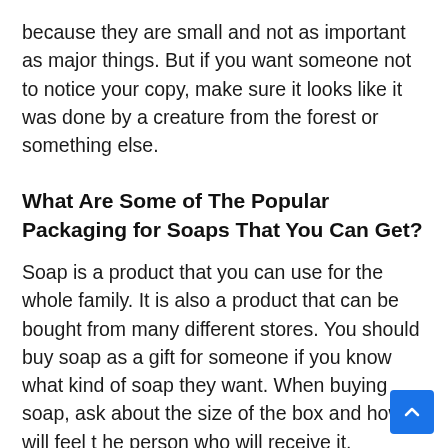because they are small and not as important as major things. But if you want someone not to notice your copy, make sure it looks like it was done by a creature from the forest or something else.
What Are Some of The Popular Packaging for Soaps That You Can Get?
Soap is a product that you can use for the whole family. It is also a product that can be bought from many different stores. You should buy soap as a gift for someone if you know what kind of soap they want. When buying soap, ask about the size of the box and how it will feel to the person who will receive it.